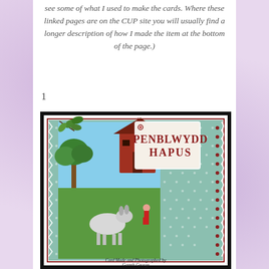see some of what I used to make the cards. Where these linked pages are on the CUP site you will usually find a longer description of how I made the item at the bottom of the page.)
1
[Figure (photo): A handmade greeting card featuring a farm scene with a barn, donkey, tree, and a figure. A tag reads 'PENBLWYDD HAPUS' (Happy Birthday in Welsh). Green leaf decorations in top-left corner. Scalloped white borders with dot pattern. Caption reads 'Card Made and Photographed by Gareth George'.]